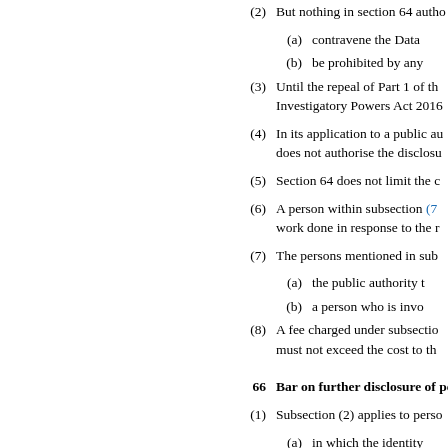(2) But nothing in section 64 autho
(a) contravene the Data
(b) be prohibited by any
(3) Until the repeal of Part 1 of th Investigatory Powers Act 2016
(4) In its application to a public au does not authorise the disclosu
(5) Section 64 does not limit the c
(6) A person within subsection (7) work done in response to the r
(7) The persons mentioned in sub
(a) the public authority t
(b) a person who is invo
(8) A fee charged under subsectio must not exceed the cost to th
66 Bar on further disclosure of pe
(1) Subsection (2) applies to pers
(a) in which the identity deduced, whether f information, and